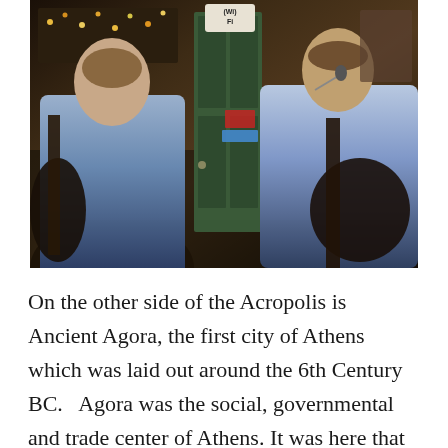[Figure (photo): Two men playing guitars inside a venue. A green door is visible in the background with a Wi-Fi sign above it. String lights are visible in the upper left. The man on the left is wearing a plaid shirt and playing guitar. The man on the right is wearing a light blue shirt and singing into a microphone while playing guitar.]
On the other side of the Acropolis is Ancient Agora, the first city of Athens which was laid out around the 6th Century BC.   Agora was the social, governmental and trade center of Athens. It was here that democracy was founded, and where Plato and Socrates taught.  The second